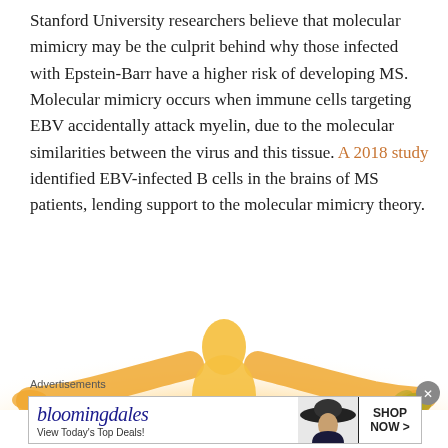Stanford University researchers believe that molecular mimicry may be the culprit behind why those infected with Epstein-Barr have a higher risk of developing MS. Molecular mimicry occurs when immune cells targeting EBV accidentally attack myelin, due to the molecular similarities between the virus and this tissue. A 2018 study identified EBV-infected B cells in the brains of MS patients, lending support to the molecular mimicry theory.
[Figure (illustration): Glowing golden silhouette of a human figure with arms outstretched wide, viewed from behind, on a white background. A small plant or grass element appears in the lower right corner.]
Advertisements
[Figure (screenshot): Bloomingdale's advertisement banner. Shows Bloomingdale's logo in blue italic font, tagline 'View Today's Top Deals!', image of a woman in a wide-brimmed hat, and a 'SHOP NOW >' call-to-action button.]